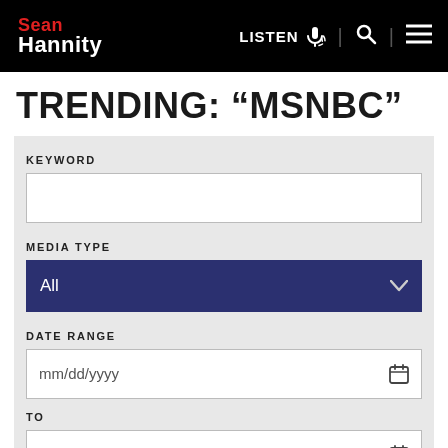Sean Hannity — LISTEN | Search | Menu
TRENDING: “MSNBC”
KEYWORD
MEDIA TYPE
All
DATE RANGE
mm/dd/yyyy
TO
mm/dd/yyyy